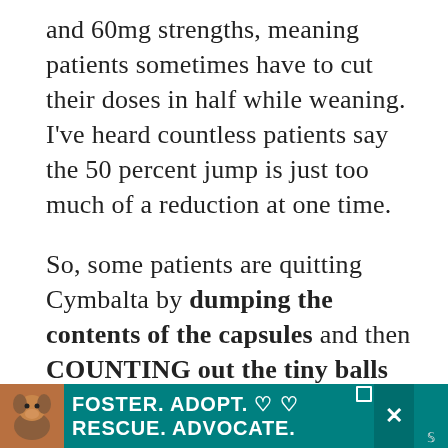and 60mg strengths, meaning patients sometimes have to cut their doses in half while weaning. I've heard countless patients say the 50 percent jump is just too much of a reduction at one time.
So, some patients are quitting Cymbalta by dumping the contents of the capsules and then COUNTING out the tiny balls every day in an effort to slowly reduce their dosage over time. I can only imagine who tedious and time-consuming this is, but it seems to be the best way some patients have found to re...
[Figure (photo): Advertisement banner at bottom of page showing a dog (pit bull type) and text 'FOSTER. ADOPT. RESCUE. ADVOCATE.' on a teal background with heart icons and a close button.]